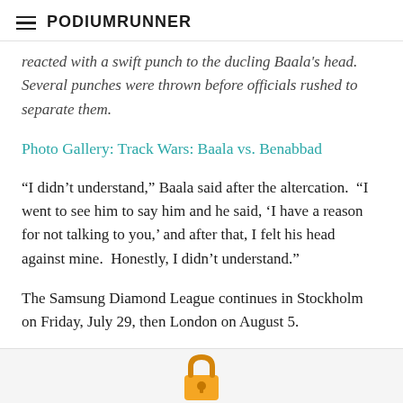PodiumRunner
reacted with a swift punch to the ducling Baala's head.  Several punches were thrown before officials rushed to separate them.
Photo Gallery: Track Wars: Baala vs. Benabbad
“I didn’t understand,” Baala said after the altercation.  “I went to see him to say him and he said, ‘I have a reason for not talking to you,’ and after that, I felt his head against mine.  Honestly, I didn’t understand.”
The Samsung Diamond League continues in Stockholm on Friday, July 29, then London on August 5.
[Figure (illustration): A padlock emoji icon at the bottom center of the page, above a gray footer bar.]